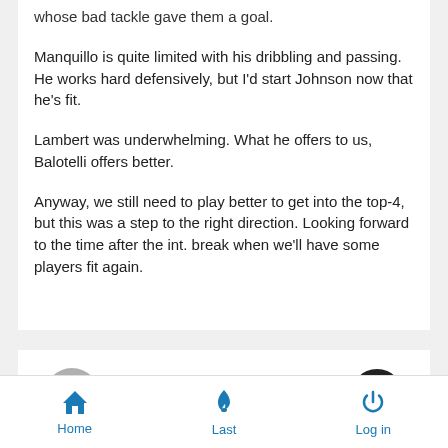whose bad tackle gave them a goal.
Manquillo is quite limited with his dribbling and passing. He works hard defensively, but I'd start Johnson now that he's fit.
Lambert was underwhelming. What he offers to us, Balotelli offers better.
Anyway, we still need to play better to get into the top-4, but this was a step to the right direction. Looking forward to the time after the int. break when we'll have some players fit again.
Sun Oct 05, 2014 12:42 am
by McAgger
Home  Last  Log in